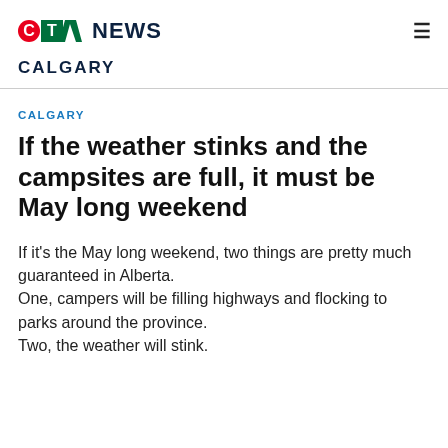CTV News CALGARY
CALGARY
If the weather stinks and the campsites are full, it must be May long weekend
If it's the May long weekend, two things are pretty much guaranteed in Alberta.
One, campers will be filling highways and flocking to parks around the province.
Two, the weather will stink.